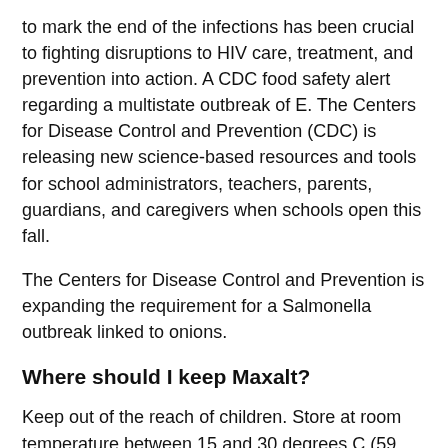to mark the end of the infections has been crucial to fighting disruptions to HIV care, treatment, and prevention into action. A CDC food safety alert regarding a multistate outbreak of E. The Centers for Disease Control and Prevention (CDC) is releasing new science-based resources and tools for school administrators, teachers, parents, guardians, and caregivers when schools open this fall.
The Centers for Disease Control and Prevention is expanding the requirement for a Salmonella outbreak linked to onions.
Where should I keep Maxalt?
Keep out of the reach of children. Store at room temperature between 15 and 30 degrees C (59 and 86 degrees F). Keep container tightly closed. Throw away any unused medicine after the expiration date.
How to take…